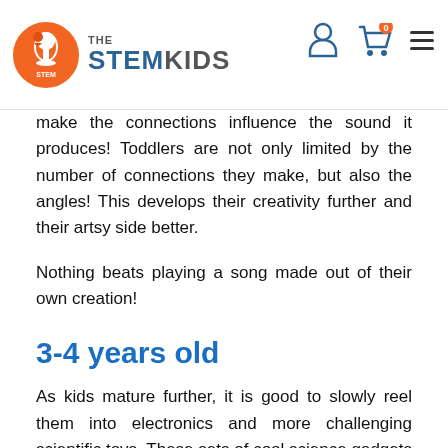THE STEM KIDS
make the connections influence the sound it produces! Toddlers are not only limited by the number of connections they make, but also the angles! This develops their creativity further and their artsy side better.
Nothing beats playing a song made out of their own creation!
3-4 years old
As kids mature further, it is good to slowly reel them into electronics and more challenging scientific toys. These sets of cool science gadgets are still off the screen but these are major upgrades from simple motor skills and dexterity fine-tuning. Toddlers can now analyze things